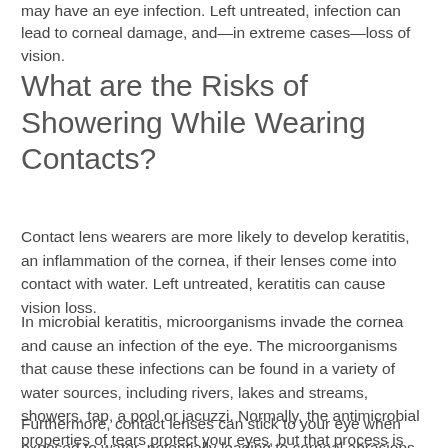may have an eye infection. Left untreated, infection can lead to corneal damage, and—in extreme cases—loss of vision.
What are the Risks of Showering While Wearing Contacts?
Contact lens wearers are more likely to develop keratitis, an inflammation of the cornea, if their lenses come into contact with water. Left untreated, keratitis can cause vision loss.
In microbial keratitis, microorganisms invade the cornea and cause an infection of the eye. The microorganisms that cause these infections can be found in a variety of water sources, including rivers, lakes and streams, showers, tap, a pool or jacuzzi. Normally, the antimicrobial properties of tears protect your eyes, but that process is hindered by contact lenses.
Furthermore, contact lenses can stick to your eye when exposed to water, potentially leading to corneal abrasions. These scratches may enable microorganisms found in non-